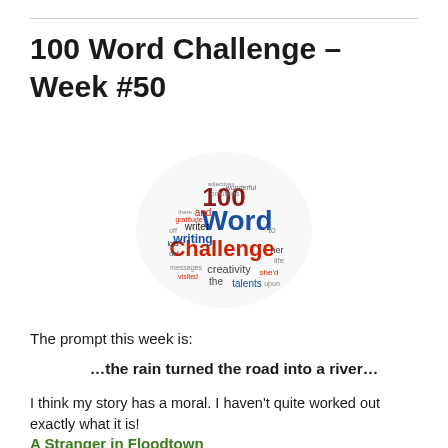100 Word Challenge – Week #50
[Figure (illustration): Word cloud in a circular shape featuring words like '100', 'Word', 'Challenge', 'writing', 'creativity', 'talents', 'the', 'and', 'writer' in various colors including red, blue, dark red, and black.]
The prompt this week is:
…the rain turned the road into a river…
I think my story has a moral. I haven't quite worked out exactly what it is!
A Stranger in Floodtown